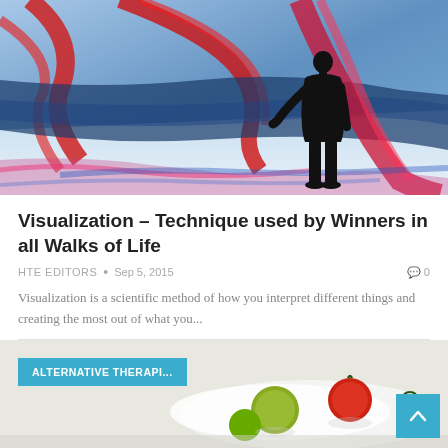[Figure (photo): A silhouetted man in a suit stands against a large blue background with bold red, blue, and pink ribbon-like graphic lines flowing across the floor and wall in a data visualization installation.]
Visualization – Technique used by Winners in all Walks of Life
HTE EDITORS • Sep 5, 2015   0
Visualization is a scientific method of how you interpret different things and creating the most out of what you...
[Figure (photo): A partial photo showing colorful fruits and vegetables (tomato, apple, strawberry, lime) arranged on a white surface. An 'ALTERNATIVE THERAPI...' tag is overlaid in teal/blue.]